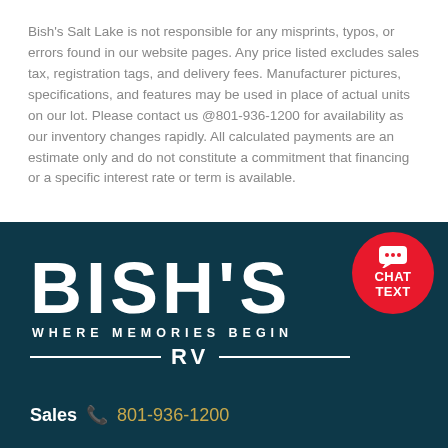Bish's Salt Lake is not responsible for any misprints, typos, or errors found in our website pages. Any price listed excludes sales tax, registration tags, and delivery fees. Manufacturer pictures, specifications, and features may be used in place of actual units on our lot. Please contact us @801-936-1200 for availability as our inventory changes rapidly. All calculated payments are an estimate only and do not constitute a commitment that financing or a specific interest rate or term is available.
[Figure (logo): Bish's RV logo in white on dark teal background with tagline 'WHERE MEMORIES BEGIN' and RV text with horizontal lines, plus a red circular chat/text button in top right corner]
Sales 801-936-1200